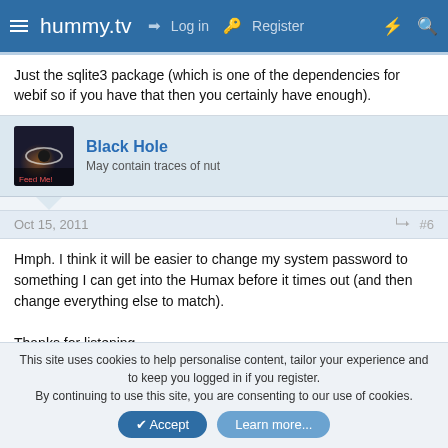hummy.tv — Log in  Register
Just the sqlite3 package (which is one of the dependencies for webif so if you have that then you certainly have enough).
Black Hole
May contain traces of nut
Oct 15, 2011  #6
Hmph. I think it will be easier to change my system password to something I can get into the Humax before it times out (and then change everything else to match).

Thanks for listening.
This site uses cookies to help personalise content, tailor your experience and to keep you logged in if you register.
By continuing to use this site, you are consenting to our use of cookies.